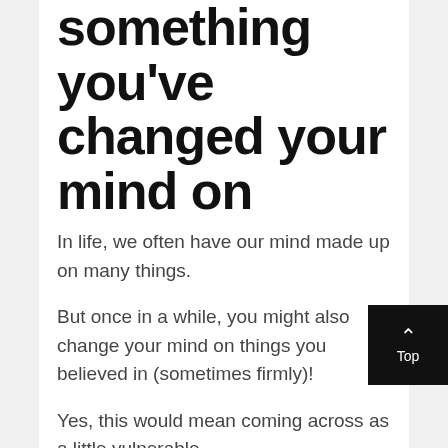something you've changed your mind on
In life, we often have our mind made up on many things.
But once in a while, you might also change your mind on things you believed in (sometimes firmly)!
Yes, this would mean coming across as a little vulnerable.
But experience is food for the soul, isn't it?